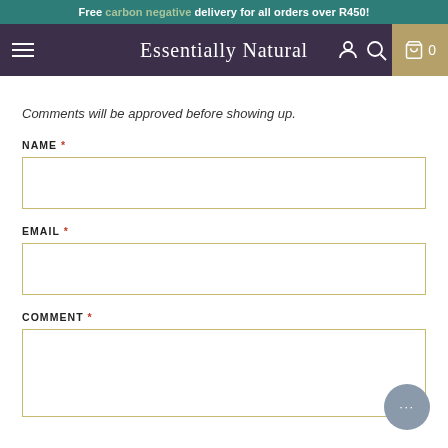Free carbon negative delivery for all orders over R450!
Essentially Natural
Comments will be approved before showing up.
NAME *
EMAIL *
COMMENT *